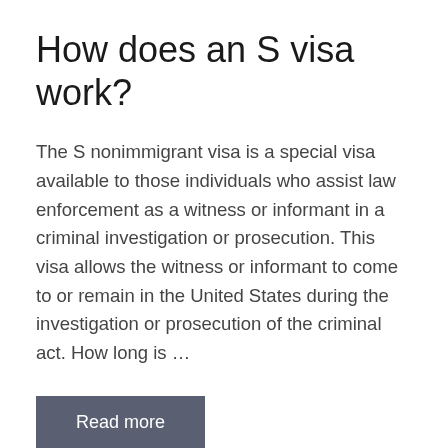How does an S visa work?
The S nonimmigrant visa is a special visa available to those individuals who assist law enforcement as a witness or informant in a criminal investigation or prosecution. This visa allows the witness or informant to come to or remain in the United States during the investigation or prosecution of the criminal act. How long is …
Read more
Tourer